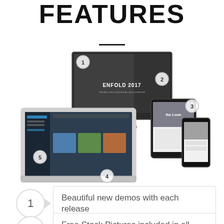FEATURES
[Figure (illustration): Multiple devices (iMac, MacBook, tablet, phone) showing the Enfold 2017 theme with numbered callout circles 1-5 placed on different parts of the devices]
1 — Beautiful new demos with each release
2 — Free Stock Pictures included in all demos